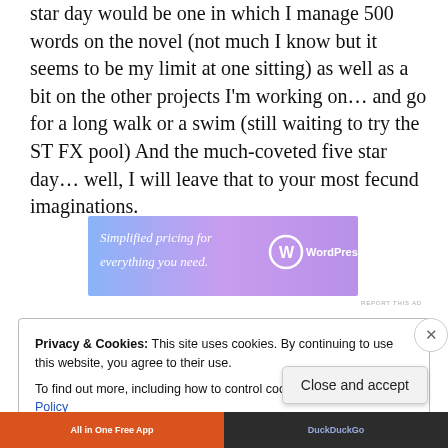star day would be one in which I manage 500 words on the novel (not much I know but it seems to be my limit at one sitting) as well as a bit on the other projects I'm working on… and go for a long walk or a swim (still waiting to try the ST FX pool) And the much-coveted five star day… well, I will leave that to your most fecund imaginations.
[Figure (advertisement): WordPress.com advertisement: 'Simplified pricing for everything you need.' with WordPress logo on gradient purple-blue background]
Privacy & Cookies: This site uses cookies. By continuing to use this website, you agree to their use.
To find out more, including how to control cookies, see here: Cookie Policy